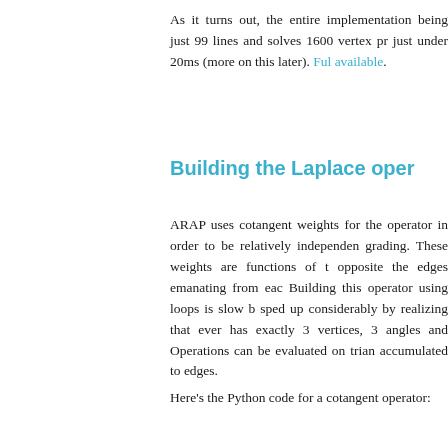As it turns out, the entire implementation being just 99 lines and solves 1600 vertex pr just under 20ms (more on this later). Full available.
Building the Laplace oper
ARAP uses cotangent weights for the operator in order to be relatively independent grading. These weights are functions of the opposite the edges emanating from each Building this operator using loops is slow b sped up considerably by realizing that every has exactly 3 vertices, 3 angles and Operations can be evaluated on trian accumulated to edges.
Here's the Python code for a cotangent operator: